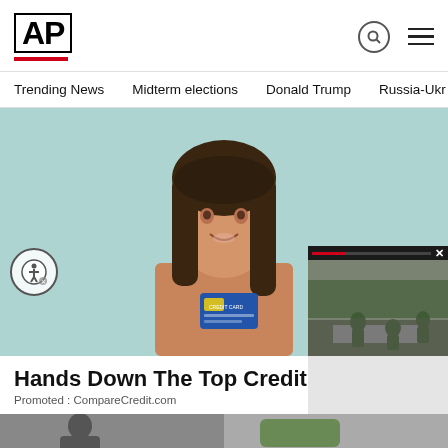AP
Trending News | Midterm elections | Donald Trump | Russia-Ukr
[Figure (photo): Woman smiling and holding a credit card against a teal/light blue background, advertisement photo]
[Figure (photo): Floating video overlay showing soldiers/military personnel working on a road, with red progress bar and X close button]
Hands Down The Top Credit C
Promoted : CompareCredit.com
[Figure (photo): Bottom thumbnail strip showing partial image]